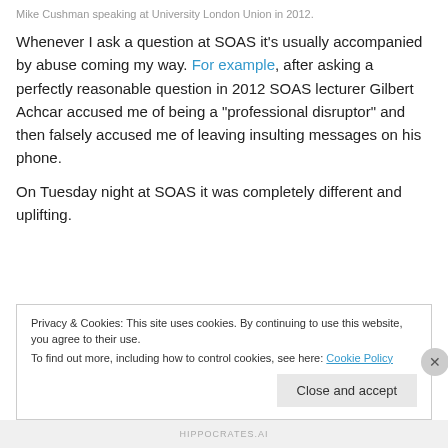Mike Cushman speaking at University London Union in 2012.
Whenever I ask a question at SOAS it's usually accompanied by abuse coming my way. For example, after asking a perfectly reasonable question in 2012 SOAS lecturer Gilbert Achcar accused me of being a “professional disruptor” and then falsely accused me of leaving insulting messages on his phone.
On Tuesday night at SOAS it was completely different and uplifting.
Privacy & Cookies: This site uses cookies. By continuing to use this website, you agree to their use. To find out more, including how to control cookies, see here: Cookie Policy